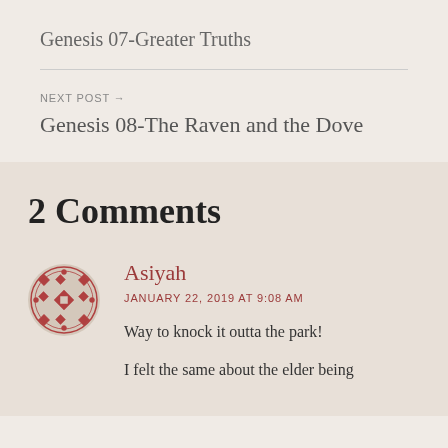Genesis 07-Greater Truths
NEXT POST →
Genesis 08-The Raven and the Dove
2 Comments
Asiyah
JANUARY 22, 2019 AT 9:08 AM
Way to knock it outta the park!
I felt the same about the elder being